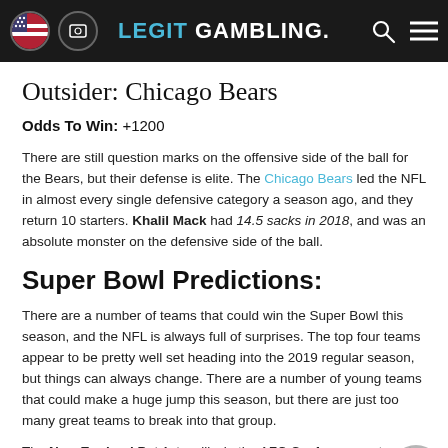LEGIT GAMBLING.
Outsider: Chicago Bears
Odds To Win: +1200
There are still question marks on the offensive side of the ball for the Bears, but their defense is elite. The Chicago Bears led the NFL in almost every single defensive category a season ago, and they return 10 starters. Khalil Mack had 14.5 sacks in 2018, and was an absolute monster on the defensive side of the ball.
Super Bowl Predictions:
There are a number of teams that could win the Super Bowl this season, and the NFL is always full of surprises. The top four teams appear to be pretty well set heading into the 2019 regular season, but things can always change. There are a number of young teams that could make a huge jump this season, but there are just too many great teams to break into that group.
The New England Patriots will win the AFC Conference yet again, and